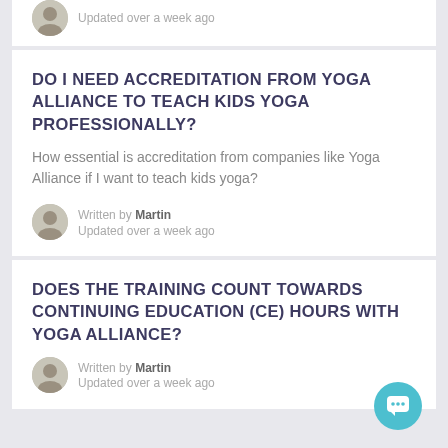Updated over a week ago
DO I NEED ACCREDITATION FROM YOGA ALLIANCE TO TEACH KIDS YOGA PROFESSIONALLY?
How essential is accreditation from companies like Yoga Alliance if I want to teach kids yoga?
Written by Martin
Updated over a week ago
DOES THE TRAINING COUNT TOWARDS CONTINUING EDUCATION (CE) HOURS WITH YOGA ALLIANCE?
Written by Martin
Updated over a week ago